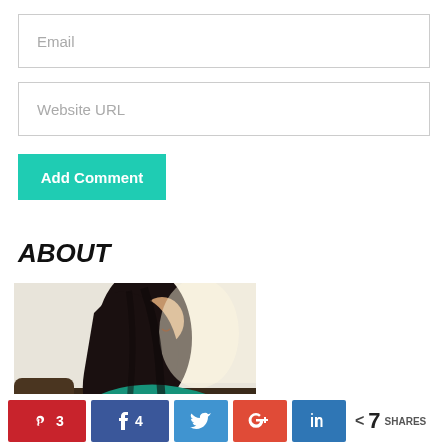Email
Website URL
Add Comment
ABOUT
[Figure (photo): A woman with long dark hair sitting on a couch, wearing a teal/green top, photographed from the side/slightly front angle]
[Figure (infographic): Social share bar with Pinterest (3), Facebook (4), Twitter, Google+, LinkedIn buttons and total share count of 7]